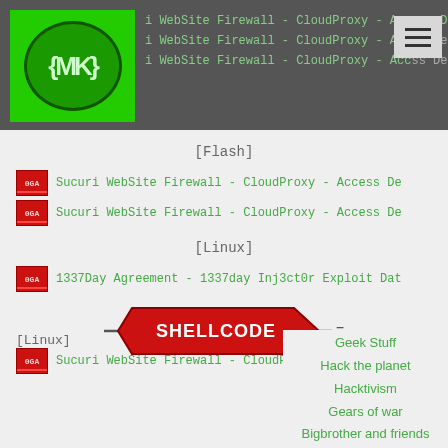Sucuri WebSite Firewall - CloudProxy - Access De (x3)
[Figure (logo): MK logo - green circular emblem with MK letters on green background]
[Figure (screenshot): Hamburger menu button (three horizontal lines) on light grey background]
[Flash]
Sucuri WebSite Firewall - CloudProxy - Access De
Sucuri WebSite Firewall - CloudProxy - Access De
[Linux]
1337Day Agreement - 1337day Inj3ct0r Exploit Dat
[Figure (logo): SHELLCODE logo - red hexagonal badge with white bold text SHELLCODE, with arrow/dash decoration]
[Linux]
Sucuri WebSite Firewall - CloudProxy - Access De
Geek Stuff
Hack the planet
Hacktivism
Gears of war
Bigbrother and friends